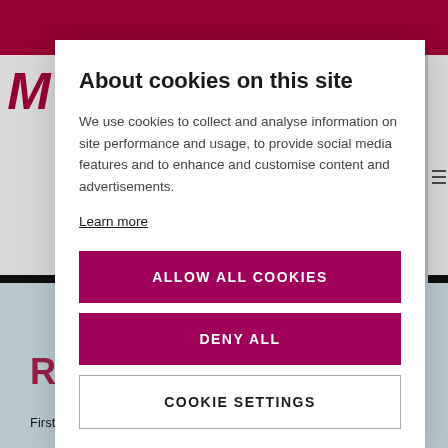About cookies on this site
We use cookies to collect and analyse information on site performance and usage, to provide social media features and to enhance and customise content and advertisements.
Learn more
ALLOW ALL COOKIES
DENY ALL
COOKIE SETTINGS
First Name*